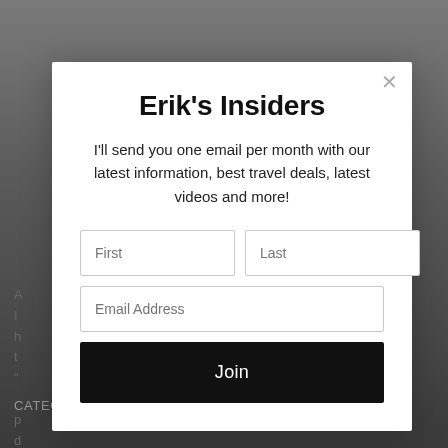[Figure (screenshot): Background photo of a person outdoors with blurred landscape, partially obscured by modal overlay]
Erik's Insiders
I'll send you one email per month with our latest information, best travel deals, latest videos and more!
First | Last (form input fields)
Email Address (form input field)
Join (button)
CATEGORIES